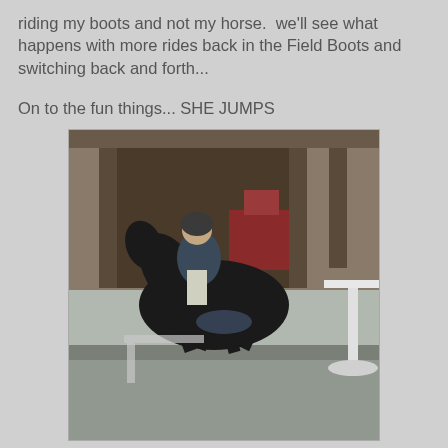riding my boots and not my horse.  we'll see what happens with more rides back in the Field Boots and switching back and forth...
On to the fun things... SHE JUMPS
[Figure (photo): A rider on a dark/black horse jumping over a white jump standard in what appears to be an outdoor arena or barn area. The horse is mid-jump, tucking its legs. Background shows wooden structure/barn and red equipment.]